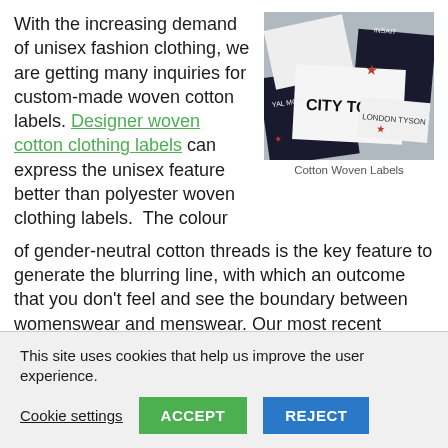With the increasing demand of unisex fashion clothing, we are getting many inquiries for custom-made woven cotton labels. Designer woven cotton clothing labels can express the unisex feature better than polyester woven clothing labels. The colour of gender-neutral cotton threads is the key feature to generate the blurring line, with which an outcome that you don't feel and see the boundary between womenswear and menswear. Our most recent collection of designer woven cotton labels has successfully created the sophisticated, individual expression, unisex modern classics for this new fashion trend.
[Figure (photo): Photo of multiple cotton woven labels with various brand names including CITY TOWN printed on fabric patches]
Cotton Woven Labels
This site uses cookies that help us improve the user experience.
Cookie settings | ACCEPT | REJECT